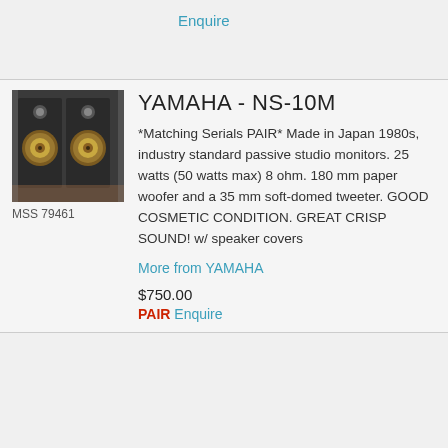Enquire
[Figure (photo): Photo of Yamaha NS-10M studio monitor speakers, a pair of black bookshelf speakers with gold woofers, shown on a shelf. Caption: MSS 79461]
YAMAHA - NS-10M
*Matching Serials PAIR* Made in Japan 1980s, industry standard passive studio monitors. 25 watts (50 watts max) 8 ohm. 180 mm paper woofer and a 35 mm soft-domed tweeter. GOOD COSMETIC CONDITION. GREAT CRISP SOUND! w/ speaker covers
More from YAMAHA
$750.00
PAIR Enquire